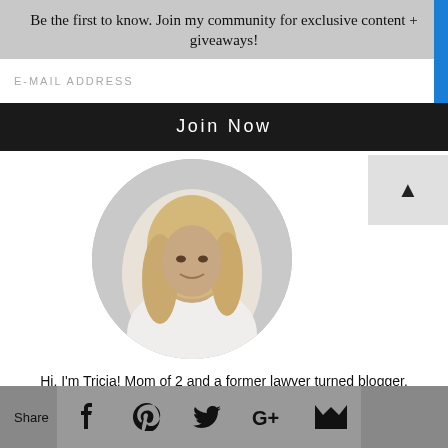Be the first to know. Join my community for exclusive content + giveaways!
E-MAIL ADDRESS
Join Now
[Figure (photo): Circular portrait photo of Tricia, a blonde woman wearing a white off-shoulder top, smiling at the camera.]
Hi, I'm Tricia! Mom of 2 and a former lawyer turned blogger. COVET by tricia is where I share my everyday with YOU--good deals I find, outfits that are comfortable yet stylish, fun trips to take with your family, and
Share [Facebook] [Pinterest] [Twitter] [Google+] [Email]